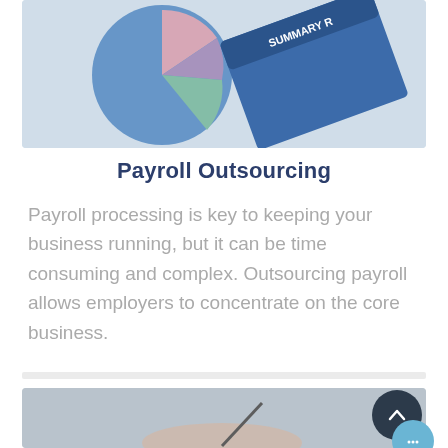[Figure (photo): Photo of a pie chart and a document labeled SUMMARY R on a desk, viewed from above]
Payroll Outsourcing
Payroll processing is key to keeping your business running, but it can be time consuming and complex. Outsourcing payroll allows employers to concentrate on the core business.
[Figure (photo): Photo of a person's hand writing on paper, blurred background, with a scroll-up button and a chat button overlay]